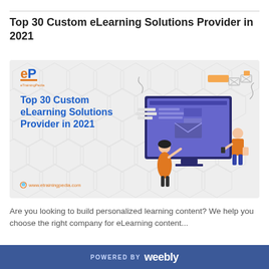Top 30 Custom eLearning Solutions Provider in 2021
[Figure (illustration): eTrainingPedia branded card with logo, bold blue title 'Top 30 Custom eLearning Solutions Provider in 2021', hexagonal background pattern, illustration of two people interacting with a large computer monitor showing eLearning content, and URL www.etrainingpedia.com]
Are you looking to build personalized learning content? We help you choose the right company for eLearning content...
POWERED BY weebly